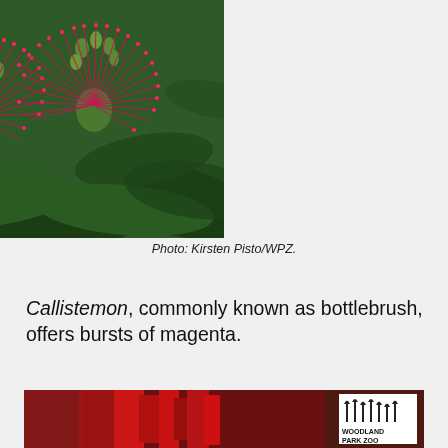[Figure (photo): Close-up photograph of red Callistemon (bottlebrush) flowers with spiky magenta/red stamens and green buds, with Woodland Park Zoo logo in lower left corner.]
Photo: Kirsten Pisto/WPZ.
Callistemon, commonly known as bottlebrush, offers bursts of magenta.
[Figure (photo): Close-up photograph of red bottlebrush plant stems/buds with Woodland Park Zoo logo in lower right corner.]